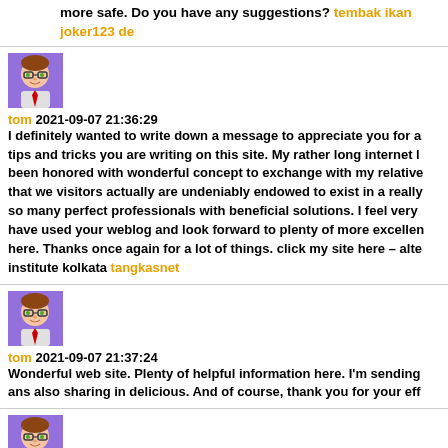more safe. Do you have any suggestions? tembak ikan joker123 de…
[Figure (illustration): Avatar image of user 'tom' - cartoon character with glasses and red tie on purple background]
tom 2021-09-07 21:36:29
I definitely wanted to write down a message to appreciate you for all the tips and tricks you are writing on this site. My rather long internet has been honored with wonderful concept to exchange with my relatives. I say that we visitors actually are undeniably endowed to exist in a really fine site with so many perfect professionals with beneficial solutions. I feel very much privileged to have used your weblog and look forward to plenty of more excellent moments reading here. Thanks once again for a lot of things. click my site here – alternative medicine institute kolkata tangkasnet
[Figure (illustration): Avatar image of user 'tom' - cartoon character with glasses and red tie on purple background]
tom 2021-09-07 21:37:24
Wonderful web site. Plenty of helpful information here. I'm sending it to several ans also sharing in delicious. And of course, thank you for your eff…
[Figure (illustration): Avatar image of user 'tom' - cartoon character with glasses and red tie on purple background]
tom 2021-09-08 17:21:55
Harry Potter becomes headmaster in his final year at school. white…
===================================